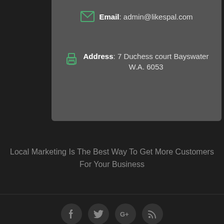Email: admin@likespal.com
Address: 7 Duchess court Bayswater W.A. 6053
Local Marketing Is The Best Way To Get More Customers For Your Business
[Figure (other): Social media icons: Facebook, Twitter, Google+, RSS]
Designed by Elegant Themes | Powered by WordPress